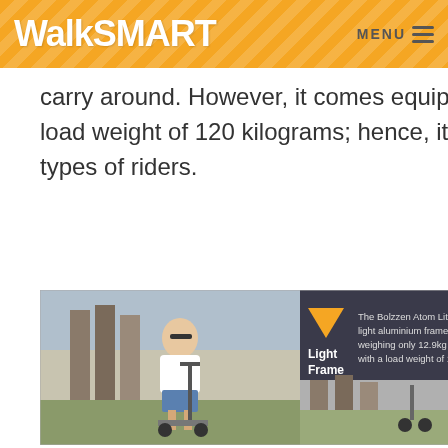WalkSMART   MENU
carry around. However, it comes equipped with a load weight of 120 kilograms; hence, it is ideal for all types of riders.
[Figure (photo): Product image showing 'Light Frame' feature of the Bolzzen Atom Lite electric scooter. Left half shows a woman riding the scooter outdoors. Right half (dark background) shows text: 'The Bolzzen Atom Lite has a light aluminium frame weighing only 12.9kg but with a load weight of 120kg.' with an orange triangle/arrow icon labeled 'Light Frame'.]